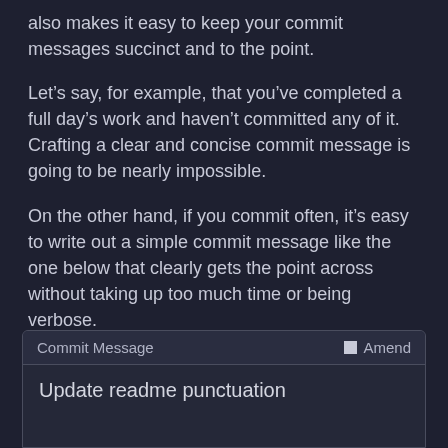also makes it easy to keep your commit messages succinct and to the point.
Let’s say, for example, that you’ve completed a full day’s work and haven’t committed any of it. Crafting a clear and concise commit message is going to be nearly impossible.
On the other hand, if you commit often, it’s easy to write out a simple commit message like the one below that clearly gets the point across without taking up too much time or being verbose.
[Figure (screenshot): A dark-themed commit message UI panel showing a header row with 'Commit Message' label and an 'Amend' checkbox on the right, and a text input area containing the text 'Update readme punctuation'.]